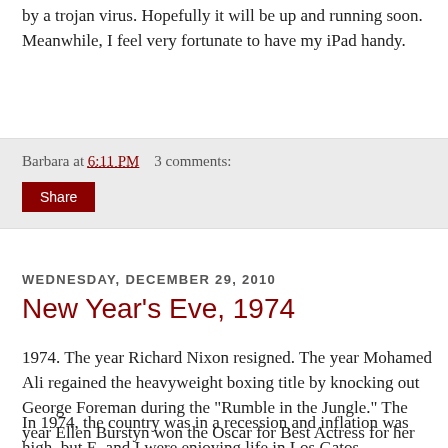by a trojan virus. Hopefully it will be up and running soon. Meanwhile, I feel very fortunate to have my iPad handy.
Barbara at 6:11 PM    3 comments:
Share
Wednesday, December 29, 2010
New Year's Eve, 1974
1974. The year Richard Nixon resigned. The year Mohamed Ali regained the heavyweight boxing title by knocking out George Foreman during the "Rumble in the Jungle." The year Ellen Burstyn won the Oscar for Best Actress for her title role in Martin Scorsese's first major Hollywood film, Alice Doesn't Live Here Anymore.
In 1974, the country was in a recession and inflation was high, but E. and I were enjoying life in Los Gatos, California. We'd returned there after a year in Connecticut and had both gotten jobs at.